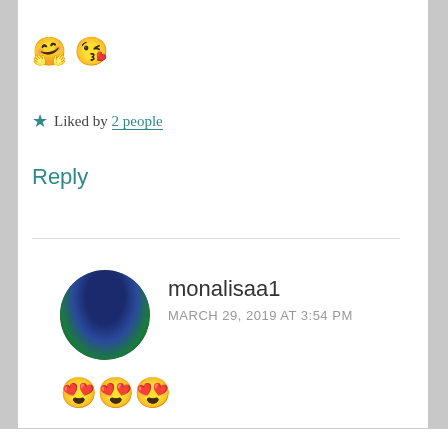🤗😘
★ Liked by 2 people
Reply
[Figure (photo): Circular avatar profile photo of monalisaa1 showing a couple]
monalisaa1
MARCH 29, 2019 AT 3:54 PM
😍😍😍
Privacy & Cookies: This site uses cookies. By continuing to use this website, you agree to their use.
To find out more, including how to control cookies, see here: Cookie Policy
Close and accept